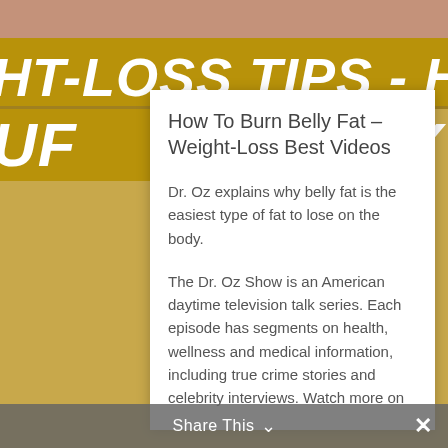[Figure (screenshot): Screenshot of a weight-loss tips webpage with gold italic banner text reading 'HT-LOSS TIPS - HOW TO' and 'UF ... Y' on a gold/white background, with a person's skin visible at top, and a white popup card overlaying the center-right portion.]
How To Burn Belly Fat – Weight-Loss Best Videos
Dr. Oz explains why belly fat is the easiest type of fat to lose on the body.
The Dr. Oz Show is an American daytime television talk series. Each episode has segments on health, wellness and medical information, including true crime stories and celebrity interviews. Watch more on
Share This ∨  ✕